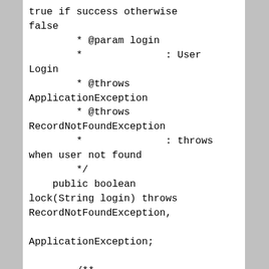true if success otherwise false
        * @param login
        *              : User Login
        * @throws ApplicationException
        * @throws RecordNotFoundException
        *              : throws when user not found
        */
    public boolean lock(String login) throws RecordNotFoundException,

    ApplicationException;

        /**
        * Reset Password of User with auto generated